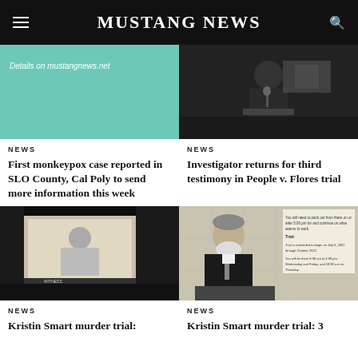MUSTANG NEWS
[Figure (photo): Green teal card with text 'Details on mustangnews.net']
[Figure (photo): Courtroom photo showing a person in a suit at a podium from behind]
NEWS
First monkeypox case reported in SLO County, Cal Poly to send more information this week
NEWS
Investigator returns for third testimony in People v. Flores trial
[Figure (photo): Dark courtroom with projection screen showing a woman in a still video]
[Figure (photo): Older man with white beard in a dark suit seated at a witness stand with documents on screen behind]
NEWS
Kristin Smart murder trial:
NEWS
Kristin Smart murder trial: 3